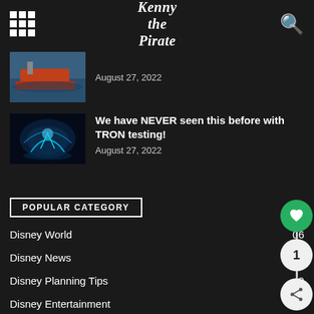Kenny the Pirate
August 27, 2022
We have NEVER seen this before with TRON testing!
August 27, 2022
POPULAR CATEGORY
Disney World 06
Disney News 02
Disney Planning Tips 9
Disney Entertainment 860
Epcot 739
Magic Kingdom 668